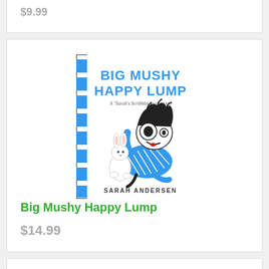$9.99
[Figure (illustration): Book cover of 'Big Mushy Happy Lump' by Sarah Andersen, a Sarah's Scribbles collection. Cover shows a cartoon character with big eyes and messy black hair wearing a blue striped outfit, lying down next to a small white bunny.]
Big Mushy Happy Lump
$14.99